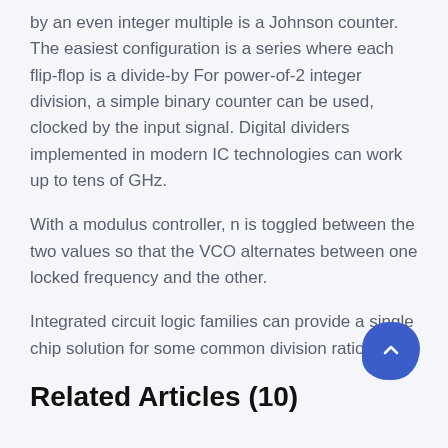by an even integer multiple is a Johnson counter. The easiest configuration is a series where each flip-flop is a divide-by For power-of-2 integer division, a simple binary counter can be used, clocked by the input signal. Digital dividers implemented in modern IC technologies can work up to tens of GHz.
With a modulus controller, n is toggled between the two values so that the VCO alternates between one locked frequency and the other.
Integrated circuit logic families can provide a single chip solution for some common division ratios.
Related Articles (10)